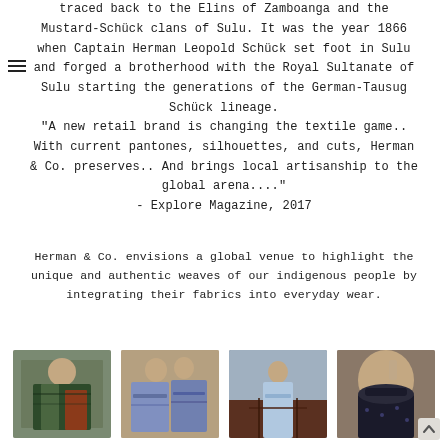traced back to the Elins of Zamboanga and the Mustard-Schück clans of Sulu. It was the year 1866 when Captain Herman Leopold Schück set foot in Sulu and forged a brotherhood with the Royal Sultanate of Sulu starting the generations of the German-Tausug Schück lineage.
"A new retail brand is changing the textile game.. With current pantones, silhouettes, and cuts, Herman & Co. preserves.. And brings local artisanship to the global arena...." - Explore Magazine, 2017
Herman & Co. envisions a global venue to highlight the unique and authentic weaves of our indigenous people by integrating their fabrics into everyday wear.
[Figure (photo): Four fashion photos showing people wearing Herman & Co. indigenous fabric clothing and accessories]